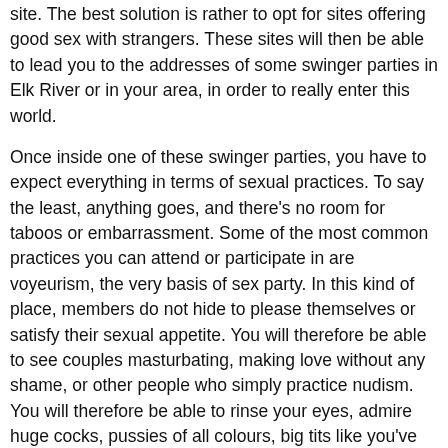site. The best solution is rather to opt for sites offering good sex with strangers. These sites will then be able to lead you to the addresses of some swinger parties in Elk River or in your area, in order to really enter this world.
Once inside one of these swinger parties, you have to expect everything in terms of sexual practices. To say the least, anything goes, and there's no room for taboos or embarrassment. Some of the most common practices you can attend or participate in are voyeurism, the very basis of sex party. In this kind of place, members do not hide to please themselves or satisfy their sexual appetite. You will therefore be able to see couples masturbating, making love without any shame, or other people who simply practice nudism. You will therefore be able to rinse your eyes, admire huge cocks, pussies of all colours, big tits like you've never seen before, without fear of disturbing anyone, because exhibitionists love to be the object of attention. You'll think you're in the middle of shooting a porn movie, except that the actors really get their kicks out of it.